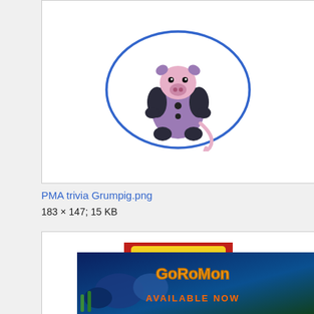[Figure (illustration): Grumpig Pokemon character inside a blue oval/ellipse on white background]
PMA trivia Grumpig.png
183 × 147; 15 KB
[Figure (illustration): Pokemon Advanced Challenge DVD cover - Pokeblock Stock and Berry, Vol. 10, featuring Grumpig and another Pokemon]
Pokeblock Stock and Berry DVD.png
545 × ...
[Figure (photo): Coromon game advertisement banner - Available Now]